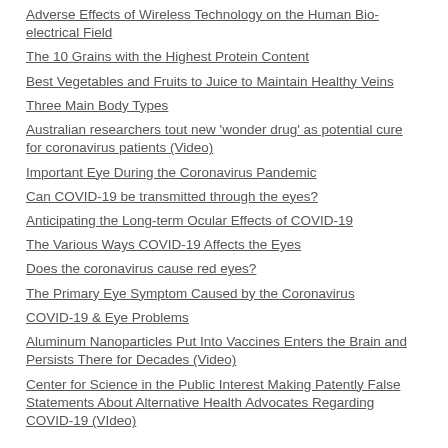Adverse Effects of Wireless Technology on the Human Bio-electrical Field
The 10 Grains with the Highest Protein Content
Best Vegetables and Fruits to Juice to Maintain Healthy Veins
Three Main Body Types
Australian researchers tout new 'wonder drug' as potential cure for coronavirus patients (Video)
Important Eye During the Coronavirus Pandemic
Can COVID-19 be transmitted through the eyes?
Anticipating the Long-term Ocular Effects of COVID-19
The Various Ways COVID-19 Affects the Eyes
Does the coronavirus cause red eyes?
The Primary Eye Symptom Caused by the Coronavirus
COVID-19 & Eye Problems
Aluminum Nanoparticles Put Into Vaccines Enters the Brain and Persists There for Decades (Video)
Center for Science in the Public Interest Making Patently False Statements About Alternative Health Advocates Regarding COVID-19 (VIdeo)